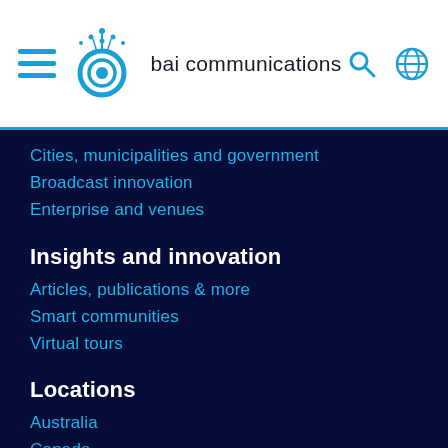[Figure (logo): BAI Communications logo with stylized B icon and text 'bai communications' along with hamburger menu, search icon and globe icon in the header]
Cities, municipalities and government
Broadcast innovation
Enterprise and venues
Insights and innovation
Articles, publications & more
Smart communities
Virtual tours
Locations
Australia
Canada
Hong Kong
UK & Ireland
Italy